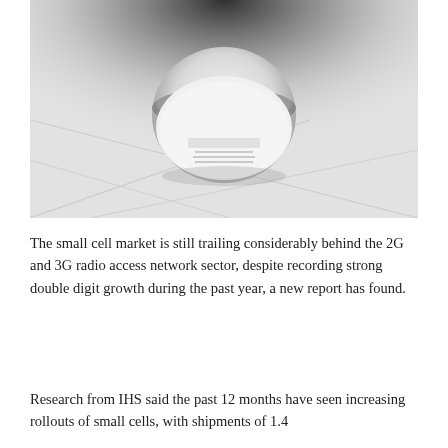[Figure (photo): A ceiling-mounted small cell device (Ericsson branded), white disc-shaped unit attached to a suspended tile ceiling, photographed from below in black and white.]
The small cell market is still trailing considerably behind the 2G and 3G radio access network sector, despite recording strong double digit growth during the past year, a new report has found.
Research from IHS said the past 12 months have seen increasing rollouts of small cells, with shipments of 1.4